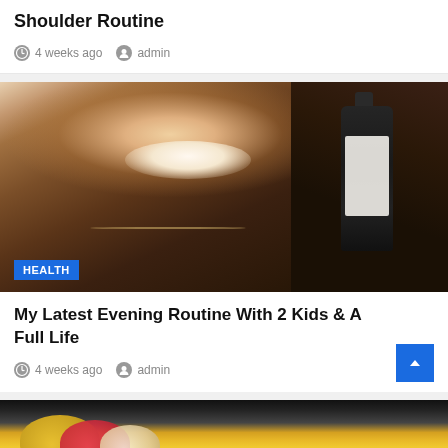Shoulder Routine
4 weeks ago  admin
[Figure (photo): Woman smiling holding a dark bottle with dropper, wearing a necklace and ring]
HEALTH
My Latest Evening Routine With 2 Kids & A Full Life
4 weeks ago  admin
[Figure (photo): Colorful weight plates partially visible at the bottom of the image]